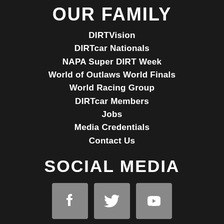OUR FAMILY
DIRTVision
DIRTcar Nationals
NAPA Super DIRT Week
World of Outlaws World Finals
World Racing Group
DIRTcar Members
Jobs
Media Credentials
Contact Us
SOCIAL MEDIA
[Figure (infographic): Three social media icons: Facebook, Twitter, YouTube, each in a grey rounded square button]